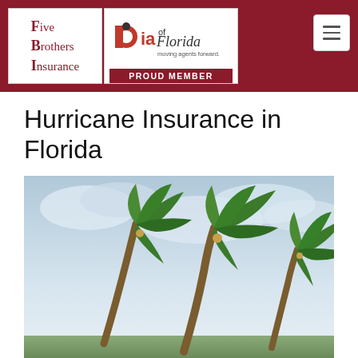Five Brothers Insurance | PIA of Florida - Proud Member
Hurricane Insurance in Florida
[Figure (photo): Three palm trees bending in strong hurricane winds against a cloudy sky, a Florida hurricane scene.]